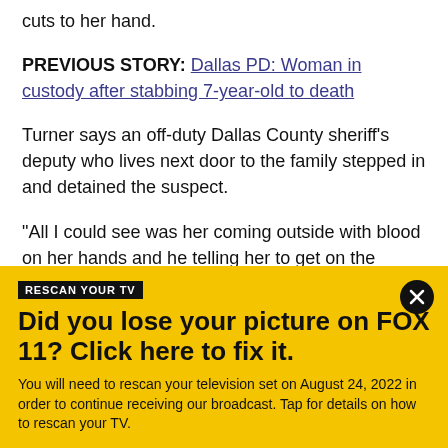cuts to her hand.
PREVIOUS STORY: Dallas PD: Woman in custody after stabbing 7-year-old to death
Turner says an off-duty Dallas County sheriff's deputy who lives next door to the family stepped in and detained the suspect.
"All I could see was her coming outside with blood on her hands and he telling her to get on the ground and put her hands behind her back," he said.
[Figure (infographic): Yellow promotional banner with black header label 'RESCAN YOUR TV', bold headline 'Did you lose your picture on FOX 11? Click here to fix it.', and body text 'You will need to rescan your television set on August 24, 2022 in order to continue receiving our broadcast. Tap for details on how to rescan your TV.' Close button (X) in upper right.]